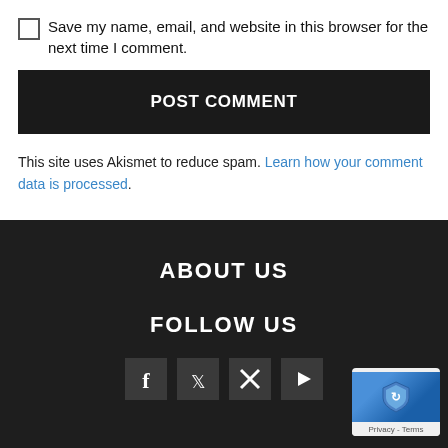Save my name, email, and website in this browser for the next time I comment.
POST COMMENT
This site uses Akismet to reduce spam. Learn how your comment data is processed.
ABOUT US
FOLLOW US
[Figure (other): Social media icon buttons: Facebook, Twitter, X (formerly Twitter), YouTube]
[Figure (other): reCAPTCHA badge with Privacy and Terms links]